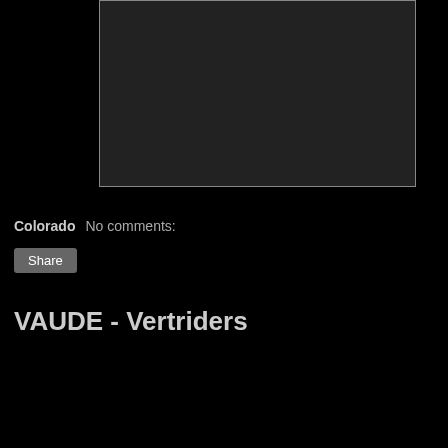[Figure (screenshot): Dark video player placeholder with light border on black background]
Colorado   No comments:
Share
VAUDE - Vertriders
[Figure (screenshot): Video thumbnail for Vertriders: Mountain Biking Extreme (Full HD) showing mountain biking scene with VAUDE logo]